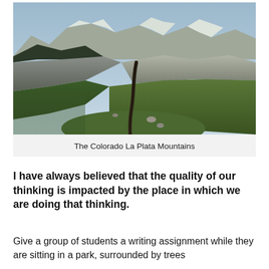[Figure (photo): A mountain trail winding through green alpine meadows with the Colorado La Plata Mountains in the background under a partly cloudy sky.]
The Colorado La Plata Mountains
I have always believed that the quality of our thinking is impacted by the place in which we are doing that thinking.
Give a group of students a writing assignment while they are sitting in a park, surrounded by trees